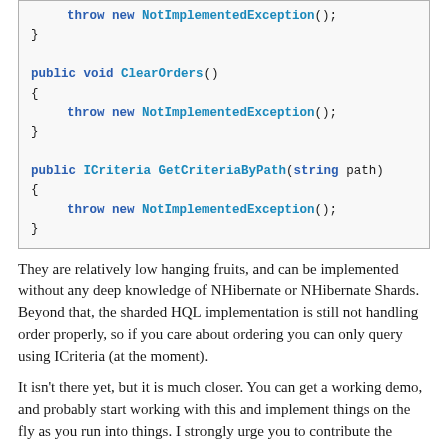[Figure (screenshot): Code block showing C# methods: throw new NotImplementedException(); closing brace, public void ClearOrders() with throw new NotImplementedException();, and public ICriteria GetCriteriaByPath(string path) with throw new NotImplementedException();]
They are relatively low hanging fruits, and can be implemented without any deep knowledge of NHibernate or NHibernate Shards. Beyond that, the sharded HQL implementation is still not handling order properly, so if you care about ordering you can only query using ICriteria (at the moment).
It isn't there yet, but it is much closer. You can get a working demo, and probably start working with this and implement things on the fly as you run into things. I strongly urge you to contribute the missing parts, at least